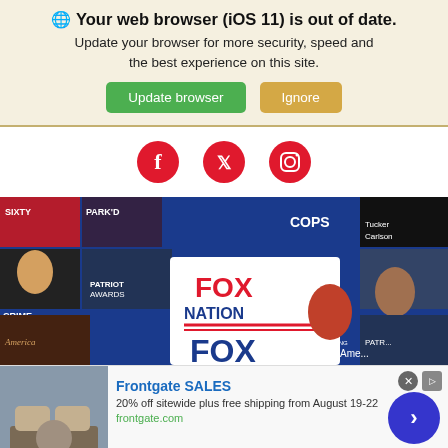🌐 Your web browser (iOS 11) is out of date. Update your browser for more security, speed and the best experience on this site.
Update browser | Ignore
[Figure (screenshot): Social media icons row: Facebook, Twitter, Instagram (red circles on white background)]
[Figure (screenshot): Fox Nation promotional banner image showing show thumbnails on a blue background with Fox Nation logo in center]
[Figure (screenshot): Frontgate SALES advertisement: 20% off sitewide plus free shipping from August 19-22, frontgate.com, with furniture image and navigation arrow]